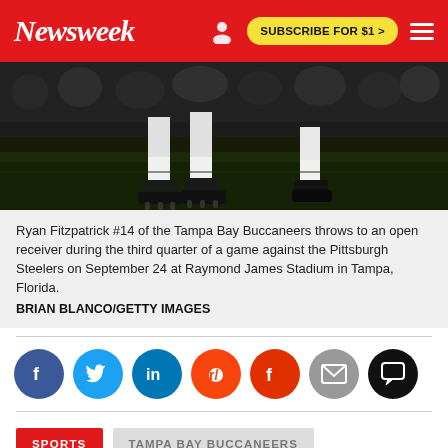Newsweek | SUBSCRIBE FOR $1 >
[Figure (photo): Close-up of football player cleats/feet on grass field during a game, dark evening lighting with crowd blurred in background]
Ryan Fitzpatrick #14 of the Tampa Bay Buccaneers throws to an open receiver during the third quarter of a game against the Pittsburgh Steelers on September 24 at Raymond James Stadium in Tampa, Florida. BRIAN BLANCO/GETTY IMAGES
[Figure (other): Social sharing icons row: Facebook, Twitter, LinkedIn, Reddit, Flipboard, Email, Comments]
SPORTS | TAMPA BAY BUCCANEERS | PITTSBURGH STEELERS